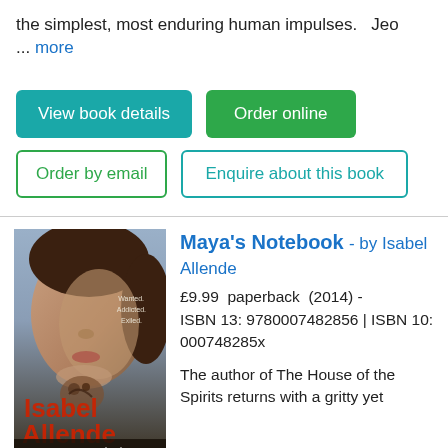the simplest, most enduring human impulses.   Jeo ... more
View book details
Order online
Order by email
Enquire about this book
[Figure (photo): Book cover of Maya's Notebook by Isabel Allende, showing a woman's face and the text 'Wanted. Addicted. Exiled.' with the author and title prominently displayed.]
Maya's Notebook - by Isabel Allende
£9.99  paperback  (2014) - ISBN 13: 9780007482856 | ISBN 10: 000748285x
The author of The House of the Spirits returns with a gritty yet transcendent tale of teenage addiction. ◆ Abandoned by her parents as a baby, Maya has